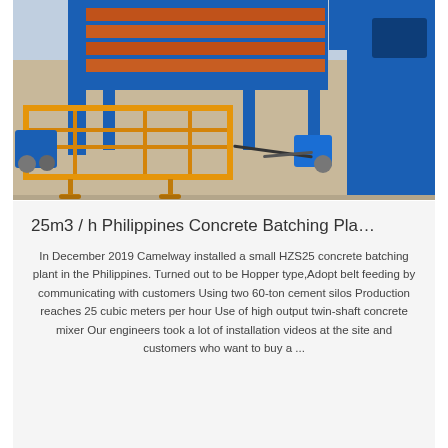[Figure (photo): Industrial concrete batching plant machine with blue metal frame, orange conveyor belt structure, blue motors, yellow/orange conveyor frame, on a sandy floor. The machine includes stacked horizontal shelves and a tall blue structure on the right side.]
25m3 / h Philippines Concrete Batching Pla…
In December 2019 Camelway installed a small HZS25 concrete batching plant in the Philippines. Turned out to be Hopper type,Adopt belt feeding by communicating with customers Using two 60-ton cement silos Production reaches 25 cubic meters per hour Use of high output twin-shaft concrete mixer Our engineers took a lot of installation videos at the site and customers who want to buy a ...